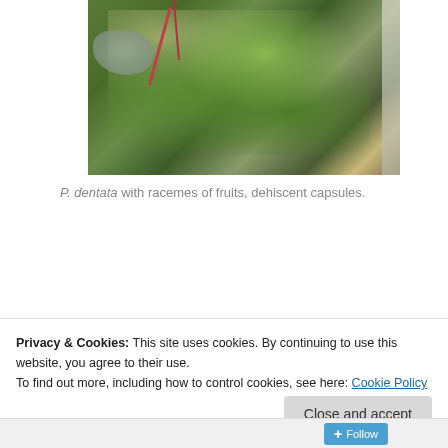[Figure (photo): Photograph of P. dentata plant showing rosette of green leaves with red stems, growing among rocks with lichen, with a ruler/scale visible on the right edge.]
P. dentata with racemes of fruits, dehiscent capsules.
[Figure (screenshot): Blue advertisement banner reading 'The only journaling app you'll ever need.' with decorative sparkle marks on either side.]
Privacy & Cookies: This site uses cookies. By continuing to use this website, you agree to their use.
To find out more, including how to control cookies, see here: Cookie Policy